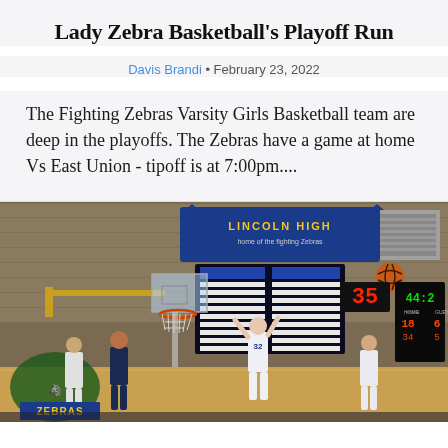Lady Zebra Basketball's Playoff Run
Davis Brandi • February 23, 2022
The Fighting Zebras Varsity Girls Basketball team are deep in the playoffs. The Zebras have a game at home Vs East Union - tipoff is at 7:00pm....
[Figure (photo): Indoor basketball game at Lincoln High School gymnasium. A player wearing number 32 in white uniform is shooting. A scoreboard shows 44:2 and 35. The Lincoln High school banner is visible above the backboard. Several other players are visible on the court.]